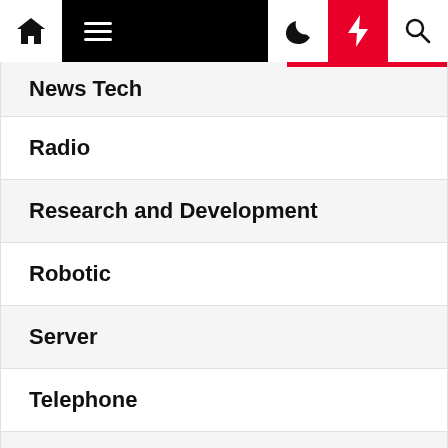Navigation bar with home, menu, moon, lightning, and search icons
News Tech
Radio
Research and Development
Robotic
Server
Telephone
Television
Video Player
Website